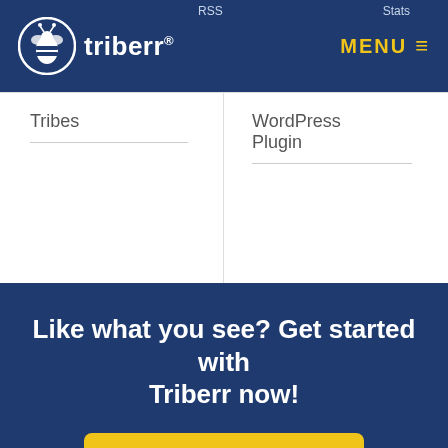[Figure (logo): Triberr logo with bee icon and wordmark in white on dark blue navigation bar]
RSS
Stats
MENU ≡
Tribes
WordPress Plugin
Like what you see? Get started with Triberr now!
GET STARTED
Join 100,000+ bloggers who already get our